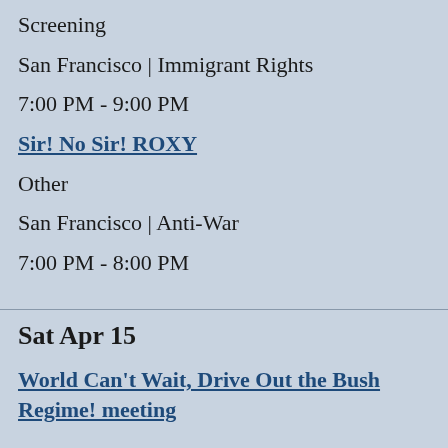Screening
San Francisco | Immigrant Rights
7:00 PM - 9:00 PM
Sir! No Sir! ROXY
Other
San Francisco | Anti-War
7:00 PM - 8:00 PM
Sat Apr 15
▲ top
World Can't Wait, Drive Out the Bush Regime! meeting